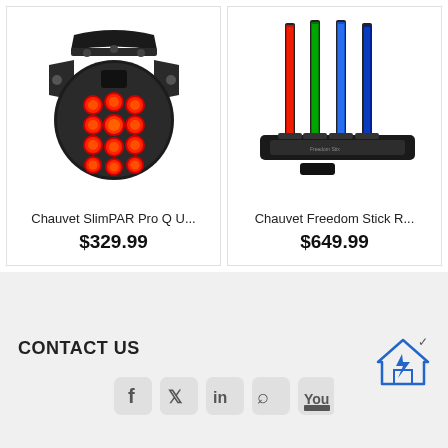[Figure (photo): Chauvet SlimPAR Pro Q USB LED par light with red LEDs illuminated, shown from front angle with mounting bracket]
Chauvet SlimPAR Pro Q U...
$329.99
[Figure (photo): Chauvet Freedom Stick RGB LED wand kit showing 4 color LED sticks (red, green, blue) mounted on stands with base case and remote]
Chauvet Freedom Stick R...
$649.99
CONTACT US
[Figure (infographic): Social media icons: Facebook, Twitter, LinkedIn, RSS feed, YouTube]
[Figure (illustration): Home/chevron up icon in blue outline style with a checkmark]